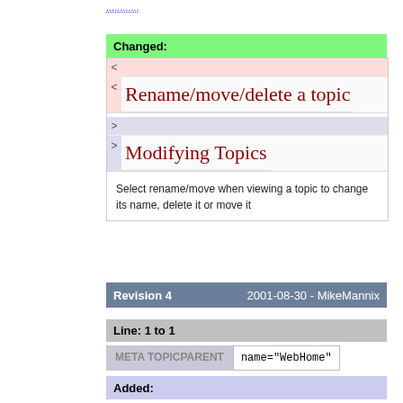...........
Changed:
< <
Rename/move/delete a topic
> >
Modifying Topics
Select rename/move when viewing a topic to change its name, delete it or move it
Revision 4   2001-08-30 - MikeMannix
Line: 1 to 1
META TOPICPARENT   name="WebHome"
Added: